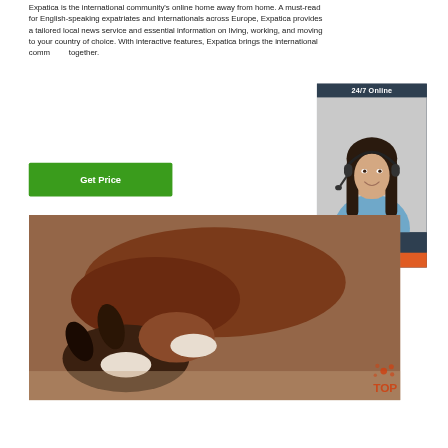Expatica is the international community's online home away from home. A must-read for English-speaking expatriates and internationals across Europe, Expatica provides a tailored local news service and essential information on living, working, and moving to your country of choice. With interactive features, Expatica brings the international community together.
[Figure (other): Green 'Get Price' button]
[Figure (other): Advertisement panel with '24/7 Online' header, woman with headset, 'Click here for free chat!' text, and orange QUOTATION button]
[Figure (photo): Close-up photo of two dogs or animals nuzzling on sandy ground]